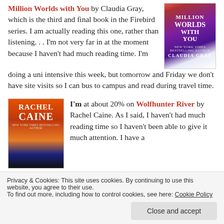Million Worlds with You by Claudia Gray, which is the third and final book in the Firebird series. I am actually reading this one, rather than listening. . . I'm not very far in at the moment because I haven't had much reading time. I'm doing a uni intensive this week, but tomorrow and Friday we don't have site visits so I can bus to campus and read during travel time.
[Figure (photo): Book cover of 'A Million Worlds With You' by Claudia Gray — purple and orange tones with large white text]
[Figure (photo): Book cover of 'Wolfhunter River' by Rachel Caine — orange, red, and dark tones with silhouetted tree branches]
I'm at about 20% on Wolfhunter River by Rachel Caine. As I said, I haven't had much reading time so I haven't been able to give it much attention. I have a
Privacy & Cookies: This site uses cookies. By continuing to use this website, you agree to their use. To find out more, including how to control cookies, see here: Cookie Policy